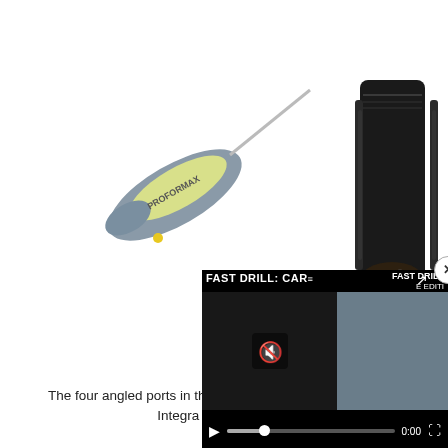[Figure (photo): Two objects side by side: on the left, a folding knife or tool with a yellow and gray handle (labeled Proforma or similar), shown from the side; on the right, a dark black suppressor or silencer endcap/monocore component showing four angled ports at its end.]
The four angled ports in the end of the monocore make the Integra self-tightening.
Get an endcap strike with a permanently attached core and you're SOL, whereas the core on the Integra can be readily repl[aced. Have] you ever try to run military [subsonic through your] silencer? We don't recomm[end it.]
[Figure (screenshot): Video overlay popup showing a shooting drill video titled 'FAST DRILL: CAR-[BINE EDITION]'. The video frame shows a shooter at an outdoor range with blue target shapes visible. Controls show mute icon, play button, progress bar with a dot at approximately 0:00, time display of 0:00, and a fullscreen expand icon. A close (X) button is in the top-right corner of the popup.]